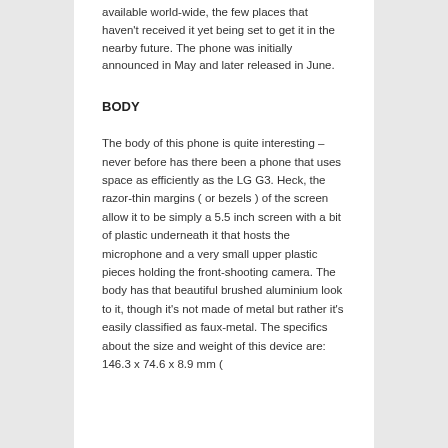available world-wide, the few places that haven't received it yet being set to get it in the nearby future. The phone was initially announced in May and later released in June.
BODY
The body of this phone is quite interesting – never before has there been a phone that uses space as efficiently as the LG G3. Heck, the razor-thin margins ( or bezels ) of the screen allow it to be simply a 5.5 inch screen with a bit of plastic underneath it that hosts the microphone and a very small upper plastic pieces holding the front-shooting camera. The body has that beautiful brushed aluminium look to it, though it's not made of metal but rather it's easily classified as faux-metal. The specifics about the size and weight of this device are: 146.3 x 74.6 x 8.9 mm (